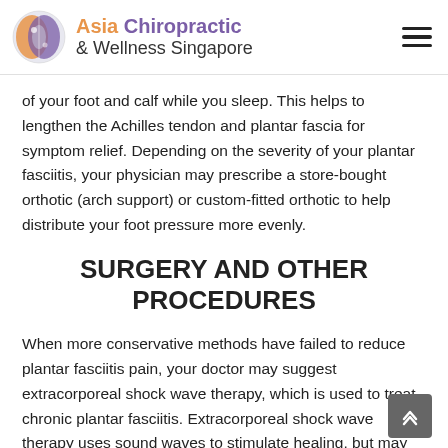Asia Chiropractic & Wellness Singapore
of your foot and calf while you sleep. This helps to lengthen the Achilles tendon and plantar fascia for symptom relief. Depending on the severity of your plantar fasciitis, your physician may prescribe a store-bought orthotic (arch support) or custom-fitted orthotic to help distribute your foot pressure more evenly.
SURGERY AND OTHER PROCEDURES
When more conservative methods have failed to reduce plantar fasciitis pain, your doctor may suggest extracorporeal shock wave therapy, which is used to treat chronic plantar fasciitis. Extracorporeal shock wave therapy uses sound waves to stimulate healing, but may cause bruises, numbness, tingling,